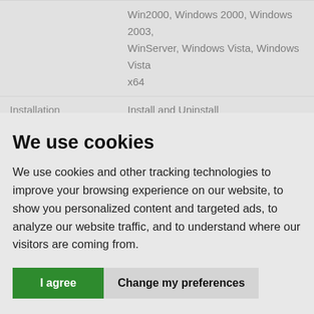|  | Win2000, Windows 2000, Windows 2003, WinServer, Windows Vista, Windows Vista x64 |
| Installation | Install and Uninstall |
| Keywords | flipbook maker, page flip software, digital |
We use cookies
We use cookies and other tracking technologies to improve your browsing experience on our website, to show you personalized content and targeted ads, to analyze our website traffic, and to understand where our visitors are coming from.
I agree | Change my preferences